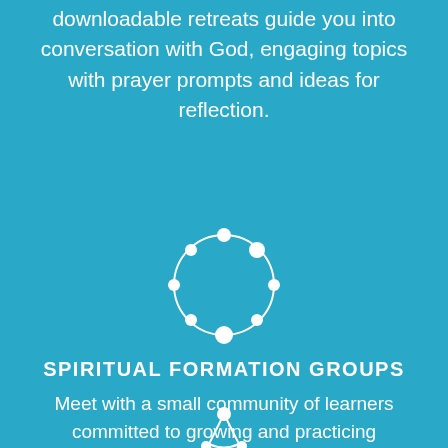downloadable retreats guide you into conversation with God, engaging topics with prayer prompts and ideas for reflection.
[Figure (illustration): White circular icon made of dots connected by lines forming a circle, on a teal background]
SPIRITUAL FORMATION GROUPS
Meet with a small community of learners committed to growing and practicing spiritual rhythms together.
[Figure (illustration): Partial white circular icon visible at bottom of page, partially cropped]